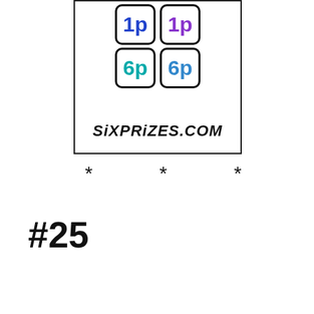[Figure (illustration): A card-like box with rounded border containing two rows of two tiles each. Top row: '1p' in blue and '1p' in purple. Bottom row: '6p' in teal and '6p' in blue. Below the tiles is the text 'SIXPRIZES.COM' in bold stylized font.]
* * *
#25